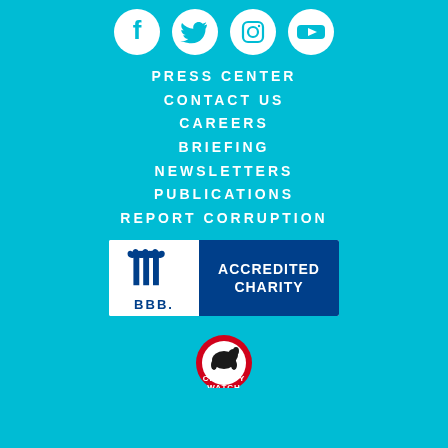[Figure (illustration): Social media icons: Facebook, Twitter, Instagram, YouTube in white circles on cyan background]
PRESS CENTER
CONTACT US
CAREERS
BRIEFING
NEWSLETTERS
PUBLICATIONS
REPORT CORRUPTION
[Figure (logo): BBB Accredited Charity badge with blue and white design]
[Figure (logo): Charity Watch logo with red circle and dog silhouette]